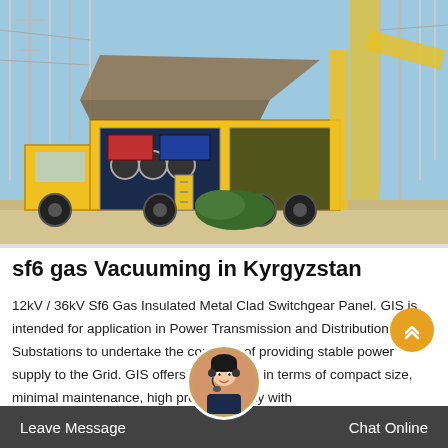[Figure (photo): Yellow truck/vehicle with equipment at an electrical substation with transmission towers and crane in Kyrgyzstan]
sf6 gas Vacuuming in Kyrgyzstan
12kV / 36kV Sf6 Gas Insulated Metal Clad Switchgear Panel. GIS is intended for application in Power Transmission and Distribution Substations to undertake the core role of providing stable power supply to the Grid. GIS offers advantages in terms of compact size, minimal maintenance, high product quality with